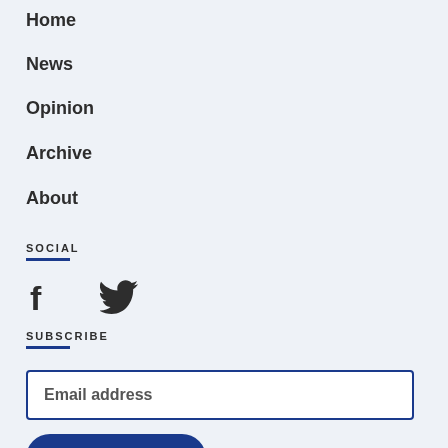Home
News
Opinion
Archive
About
SOCIAL
[Figure (illustration): Facebook and Twitter social media icons]
SUBSCRIBE
Email address